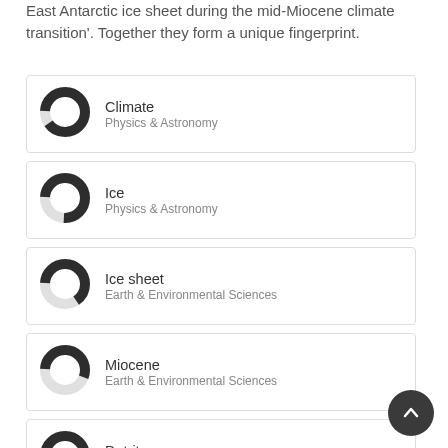East Antarctic ice sheet during the mid-Miocene climate transition'. Together they form a unique fingerprint.
Climate — Physics & Astronomy
Ice — Physics & Astronomy
Ice sheet — Earth & Environmental Sciences
Miocene — Earth & Environmental Sciences
Detritus — Earth & Environmental Sciences
Transition — Earth & Environmental Sciences